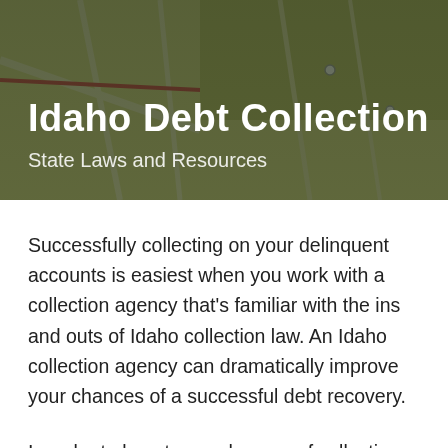[Figure (illustration): Map background with dark olive/green overlay tint behind the header text area]
Idaho Debt Collection
State Laws and Resources
Successfully collecting on your delinquent accounts is easiest when you work with a collection agency that's familiar with the ins and outs of Idaho collection law. An Idaho collection agency can dramatically improve your chances of a successful debt recovery.
In order to boost your chances of collecting unpaid debts, you'll want to contact a qualified debt collection agency immediately once you have doubts about an account. Time isn't on